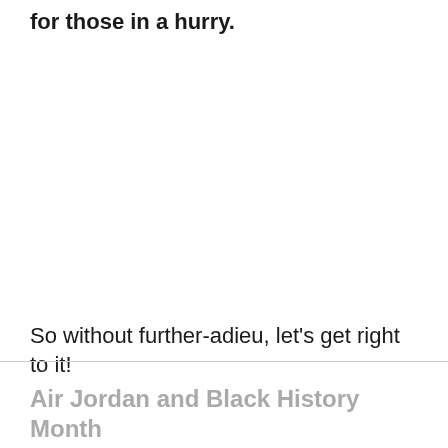for those in a hurry.
So without further-adieu, let’s get right to it!
Air Jordan and Black History Month